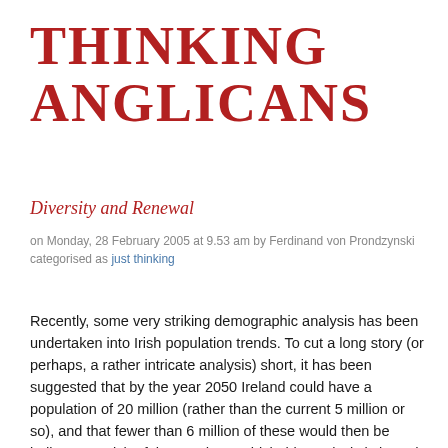THINKING ANGLICANS
Diversity and Renewal
on Monday, 28 February 2005 at 9.53 am by Ferdinand von Prondzynski
categorised as just thinking
Recently, some very striking demographic analysis has been undertaken into Irish population trends. To cut a long story (or perhaps, a rather intricate analysis) short, it has been suggested that by the year 2050 Ireland could have a population of 20 million (rather than the current 5 million or so), and that fewer than 6 million of these would then be indigenous Irish. If the trends on which this analysis is based continue, then Ireland would in just over one generation have been transformed from having the